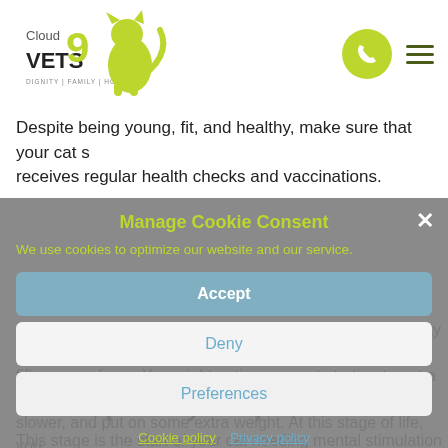[Figure (logo): Cloud 9 Vets logo with stylized cat and tagline 'DIGNITY | FAMILY | HOME']
Despite being young, fit, and healthy, make sure that your cat s receives regular health checks and vaccinations.
Mature (7-10 years)
This stage is equivalent to mid-life for a human, around forty to fifty years of age. You might notice your cat starting to get a bit slower, and put on some extra weight. At this stage of life, you should monitor their food, so they are not overeating compared to the amount of exercise they are doing.
Senior (11-14 years)
This stage is the start of your cat needing mental stimulation t
[Figure (screenshot): Cookie consent modal overlay with title 'Manage Cookie Consent', description text 'We use cookies to optimize our website and our service.', and three buttons: Accept, Deny, Preferences, plus links to Cookie policy and Privacy policy]